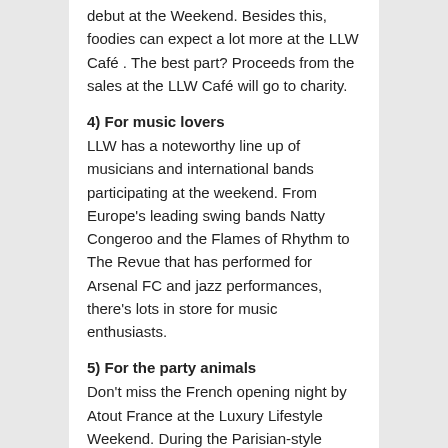debut at the Weekend. Besides this, foodies can expect a lot more at the LLW Café . The best part? Proceeds from the sales at the LLW Café will go to charity.
4) For music lovers
LLW has a noteworthy line up of musicians and international bands participating at the weekend. From Europe's leading swing bands Natty Congeroo and the Flames of Rhythm to The Revue that has performed for Arsenal FC and jazz performances, there's lots in store for music enthusiasts.
5) For the party animals
Don't miss the French opening night by Atout France at the Luxury Lifestyle Weekend. During the Parisian-style soiree, expect a fashion show where an international band and DJ will set the tone for an unforgettable evening, as signature cocktails and hors d'oeuvres do the rounds